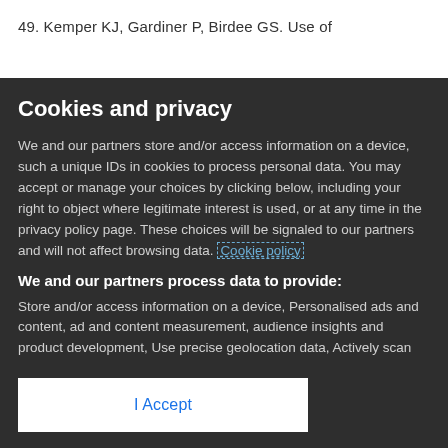49. Kemper KJ, Gardiner P, Birdee GS. Use of
Cookies and privacy
We and our partners store and/or access information on a device, such a unique IDs in cookies to process personal data. You may accept or manage your choices by clicking below, including your right to object where legitimate interest is used, or at any time in the privacy policy page. These choices will be signaled to our partners and will not affect browsing data. Cookie policy
We and our partners process data to provide:
Store and/or access information on a device, Personalised ads and content, ad and content measurement, audience insights and product development, Use precise geolocation data, Actively scan device characteristics for identification
List of Partners (vendors)
I Accept